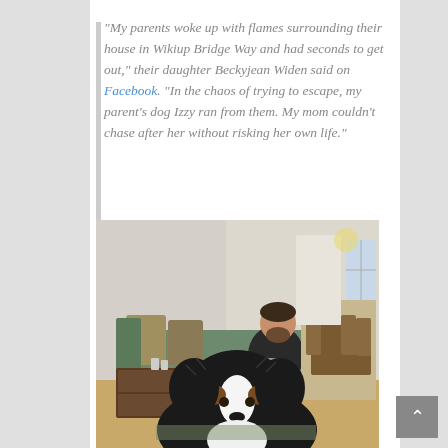“My parents woke up with flames surrounding their house in Wikiup Bridge Way and had seconds to get out,” their daughter Beckyjean Widen said on Facebook. “In the chaos of trying to escape, my parent’s dog Izzy ran from them. My mom couldn’t chase after her without risking her own life.”
[Figure (photo): A man sitting on a couch in a living room with a large black and white fluffy dog (likely a Bernese Mountain Dog) in the foreground. The room has a wooden dresser, cushions, and a dining area visible in the background.]